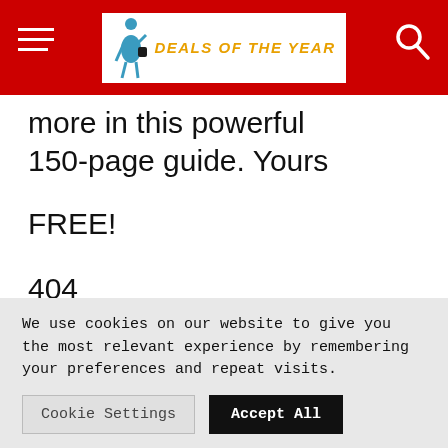DEALS OF THE YEAR
more in this powerful 150-page guide. Yours
FREE!
404
Self-Improvement
Tips
We use cookies on our website to give you the most relevant experience by remembering your preferences and repeat visits.
Cookie Settings
Accept All